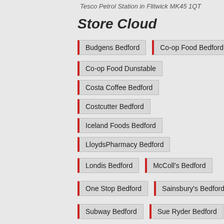Tesco Petrol Station in Flitwick MK45 1QT
Store Cloud
Budgens Bedford
Co-op Food Bedford
Co-op Food Dunstable
Costa Coffee Bedford
Costcutter Bedford
Iceland Foods Bedford
LloydsPharmacy Bedford
Londis Bedford
McColl's Bedford
One Stop Bedford
Sainsbury's Bedford
Subway Bedford
Sue Ryder Bedford
Tesco Express Bedford